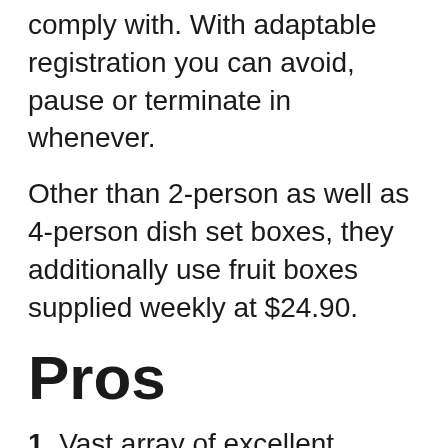comply with. With adaptable registration you can avoid, pause or terminate in whenever.
Other than 2-person as well as 4-person dish set boxes, they additionally use fruit boxes supplied weekly at $24.90.
Pros
1. Vast array of excellent quality dishes to select from
The most effective part of Marley Spoon is that you reach choose once a week menu from 27 recipes! I had a trouble attempting to select 4 meals ... they looked all look so tasty! You reach choose from Vegetarian, Meat & Fish, Healthy And Balanced, Rapid